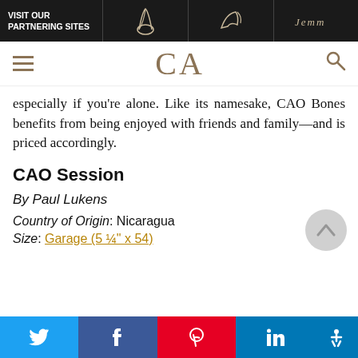VISIT OUR PARTNERING SITES
[Figure (logo): CA logo with hamburger menu and search icon navigation bar]
especially if you're alone. Like its namesake, CAO Bones benefits from being enjoyed with friends and family—and is priced accordingly.
CAO Session
By Paul Lukens
Country of Origin: Nicaragua
Size: Garage (5 ¼" x 54)
Social share buttons: Twitter, Facebook, Pinterest, LinkedIn, Accessibility